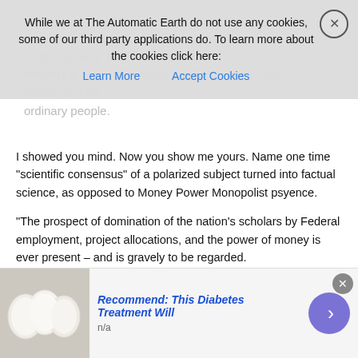Cookie banner: While we at The Automatic Earth do not use any cookies, some of our third party applications do. To learn more about the cookies click here: Learn More  Accept Cookies
I showed you mind. Now you show me yours. Name one time “scientific consensus” of a polarized subject turned into factual science, as opposed to Money Power Monopolist psyence.
“The prospect of domination of the nation’s scholars by Federal employment, project allocations, and the power of money is ever present – and is gravely to be regarded.
Yet, in holding scientific research and discovery in respect, as we should, we must also be alert to the equal and opposite danger that public policy could itself become the captive of a scientific-technological elite.”
~Dwight D. Eisenhower, Farewell Address
Scientific consensus = “captive of a scientific-technological elite” financed by “the power of money” that “is ever present, and gravely to be regarded” – not my words, President Eisenhower’s words.
[Figure (infographic): Advertisement banner: image of white eggs on left, text 'Recommend: This Diabetes Treatment Will' in blue italic bold, subtext 'n/a', purple circle arrow button on right, close X button top right.]